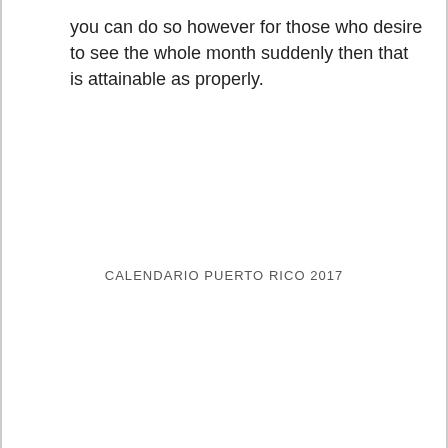you can do so however for those who desire to see the whole month suddenly then that is attainable as properly.
CALENDARIO PUERTO RICO 2017